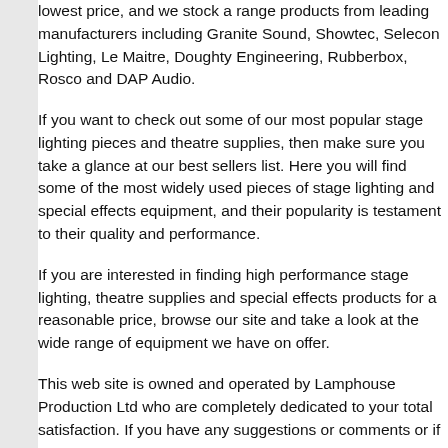lowest price, and we stock a range products from leading manufacturers including Granite Sound, Showtec, Selecon Lighting, Le Maitre, Doughty Engineering, Rubberbox, Rosco and DAP Audio.
If you want to check out some of our most popular stage lighting pieces and theatre supplies, then make sure you take a glance at our best sellers list. Here you will find some of the most widely used pieces of stage lighting and special effects equipment, and their popularity is testament to their quality and performance.
If you are interested in finding high performance stage lighting, theatre supplies and special effects products for a reasonable price, browse our site and take a look at the wide range of equipment we have on offer.
This web site is owned and operated by Lamphouse Production Ltd who are completely dedicated to your total satisfaction. If you have any suggestions or comments or if